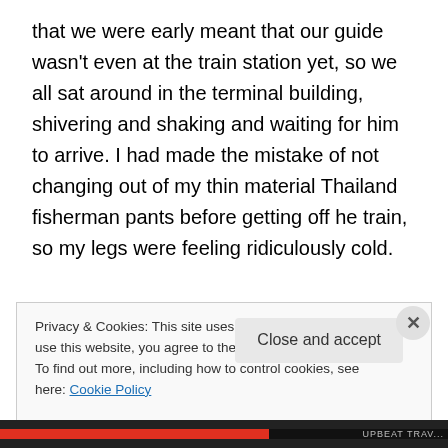that we were early meant that our guide wasn't even at the train station yet, so we all sat around in the terminal building, shivering and shaking and waiting for him to arrive. I had made the mistake of not changing out of my thin material Thailand fisherman pants before getting off he train, so my legs were feeling ridiculously cold.

Eventually Konstantin arrived to meet us at the station. He was a tall, board-shouldered guy, and his face was almost always sporting a wide, slightly goofy grin. He was particularly upbeat and cheerful that first morning in
Privacy & Cookies: This site uses cookies. By continuing to use this website, you agree to their use.
To find out more, including how to control cookies, see here: Cookie Policy
Close and accept